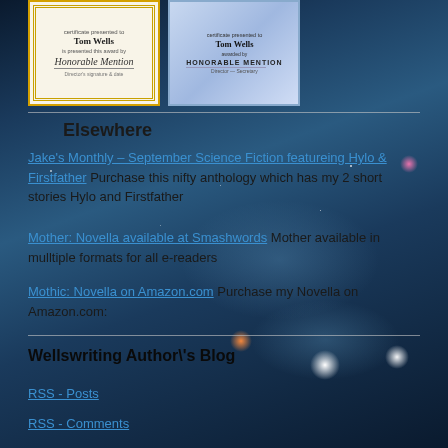[Figure (photo): Two honorable mention certificates for Tom Wells, one with gold border on cream background, one blue-tinted certificate.]
Elsewhere
Jake's Monthly – September Science Fiction featureing Hylo & Firstfather Purchase this nifty anthology which has my 2 short stories Hylo and Firstfather
Mother: Novella available at Smashwords Mother available in mulltiple formats for all e-readers
Mothic: Novella on Amazon.com Purchase my Novella on Amazon.com:
Wellswriting Author\'s Blog
RSS - Posts
RSS - Comments